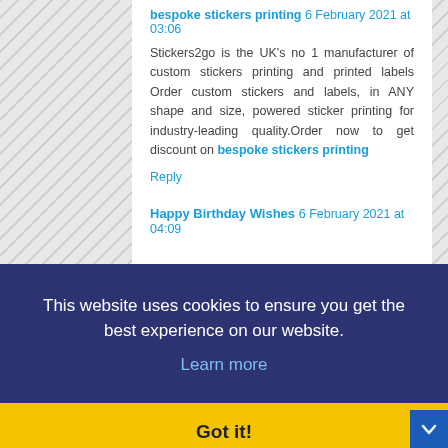bespoke stickers printing 6 February 2021 at 03:06
Stickers2go is the UK’s no 1 manufacturer of custom stickers printing and printed labels Order custom stickers and labels, in ANY shape and size, powered sticker printing for industry-leading quality.Order now to get discount on bespoke stickers printing
Reply
Happy Birthday Wishes 6 February 2021 at 04:09
This website uses cookies to ensure you get the best experience on our website. Learn more
Got it!
providing, and you give it away for free...